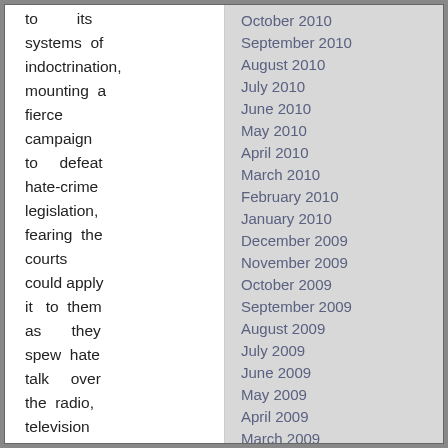to its systems of indoctrination, mounting a fierce campaign to defeat hate-crime legislation, fearing the courts could apply it to them as they spew hate talk over the radio, television and Internet.
October 2010
September 2010
August 2010
July 2010
June 2010
May 2010
April 2010
March 2010
February 2010
January 2010
December 2009
November 2009
October 2009
September 2009
August 2009
July 2009
June 2009
May 2009
April 2009
March 2009
February 2009
Whoa Nellie. The “forced